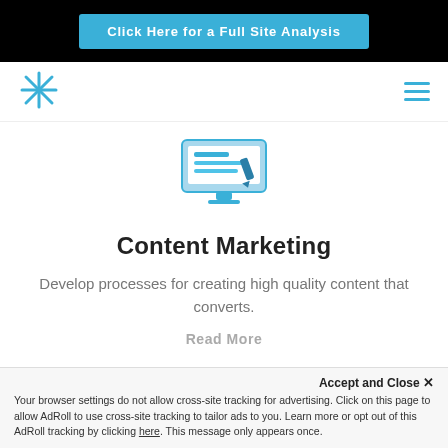Click Here for a Full Site Analysis
[Figure (logo): Blue asterisk/star logo icon in navbar]
[Figure (illustration): Blue icon showing a computer monitor with tools/content marketing graphics]
Content Marketing
Develop processes for creating high quality content that converts.
Read More
Accept and Close ×
Your browser settings do not allow cross-site tracking for advertising. Click on this page to allow AdRoll to use cross-site tracking to tailor ads to you. Learn more or opt out of this AdRoll tracking by clicking here. This message only appears once.